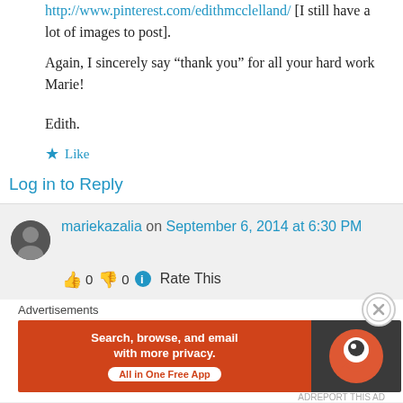http://www.pinterest.com/edithmcclelland/ [I still have a lot of images to post].
Again, I sincerely say “thank you” for all your hard work Marie!
Edith.
★ Like
Log in to Reply
mariekazalia on September 6, 2014 at 6:30 PM
👍 0 👎 0 ℹ Rate This
Advertisements
[Figure (other): DuckDuckGo advertisement banner: orange background with text 'Search, browse, and email with more privacy. All in One Free App' and DuckDuckGo logo on dark background.]